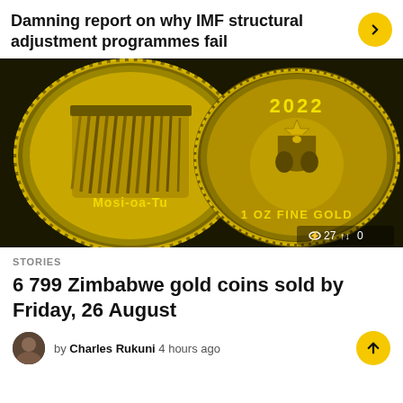Damning report on why IMF structural adjustment programmes fail
[Figure (photo): Two Zimbabwe gold coins (Mosi-oa-Tunya) photographed close up. Left coin shows Victoria Falls waterfall engraving with 'Mosi-oa-Tu' text. Right coin shows Zimbabwe coat of arms with '2022', '1 OZ FINE GOLD' inscription. Image stats: 27 views, 0 shares.]
STORIES
6 799 Zimbabwe gold coins sold by Friday, 26 August
by Charles Rukuni 4 hours ago